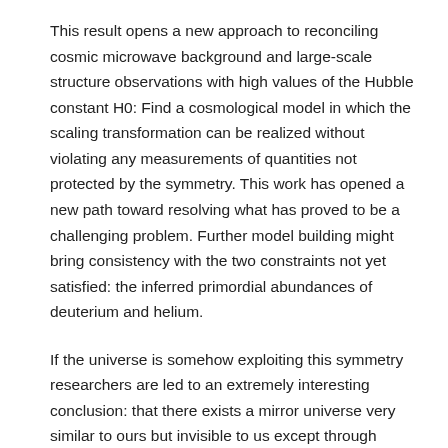This result opens a new approach to reconciling cosmic microwave background and large-scale structure observations with high values of the Hubble constant H0: Find a cosmological model in which the scaling transformation can be realized without violating any measurements of quantities not protected by the symmetry. This work has opened a new path toward resolving what has proved to be a challenging problem. Further model building might bring consistency with the two constraints not yet satisfied: the inferred primordial abundances of deuterium and helium.
If the universe is somehow exploiting this symmetry researchers are led to an extremely interesting conclusion: that there exists a mirror universe very similar to ours but invisible to us except through gravitational impact on our world. Such “mirror world” dark sector would allow for an effective scaling of the gravitational free-fall rates while respecting the precisely measured mean photon density today.